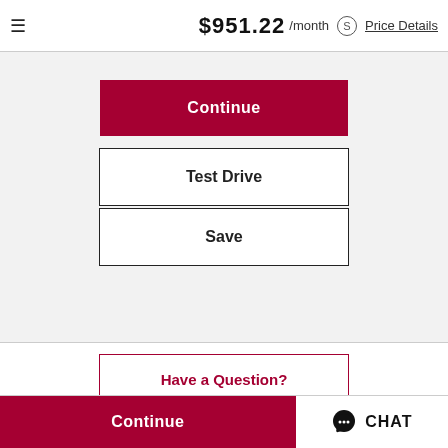$951.22 /month Price Details
Continue
Test Drive
Save
Have a Question?
Call (888) 860-9021
Continue  CHAT